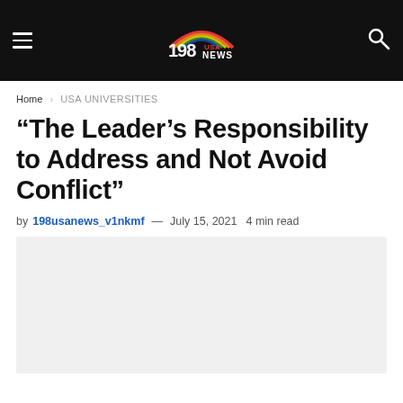198 USA NEWS — navigation header with hamburger menu, logo, and search icon
Home › USA UNIVERSITIES
“The Leader’s Responsibility to Address and Not Avoid Conflict”
by 198usanews_v1nkmf — July 15, 2021  4 min read
[Figure (photo): Article featured image placeholder (light gray rectangle)]